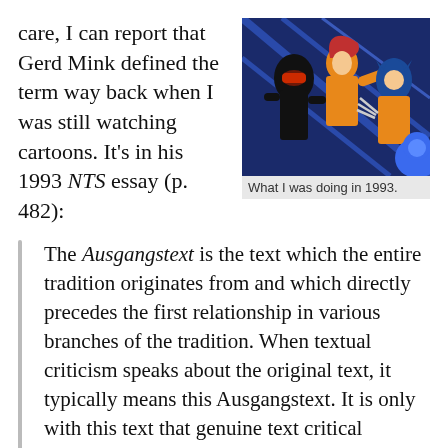care, I can report that Gerd Mink defined the term way back when I was still watching cartoons. It's in his 1993 NTS essay (p. 482):
[Figure (illustration): Comic book illustration showing X-Men characters including Cyclops, a female character with red hair, and Wolverine in yellow and blue costumes in an action pose]
What I was doing in 1993.
The Ausgangstext is the text which the entire tradition originates from and which directly precedes the first relationship in various branches of the tradition. When textual criticism speaks about the original text, it typically means this Ausgangstext. It is only with this text that genuine text critical methods are dealing. Textual stages that may have been situated between the autograph and the Ausgangstext, are not accessible to